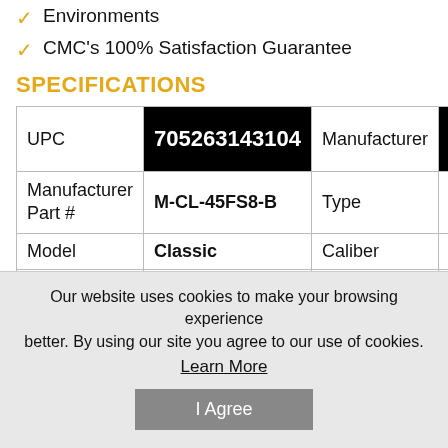Environments
CMC's 100% Satisfaction Guarantee
SPECIFICATIONS
|  |  |  |  |
| --- | --- | --- | --- |
| UPC | 705263143104 | Manufacturer | CMC Produ... |
| Manufacturer Part # | M-CL-45FS8-B | Type | Maga... |
| Model | Classic | Caliber | 45 AC... |
| Capacity | 8Rd | Color | Blue... |
Our website uses cookies to make your browsing experience better. By using our site you agree to our use of cookies.
Learn More
I Agree